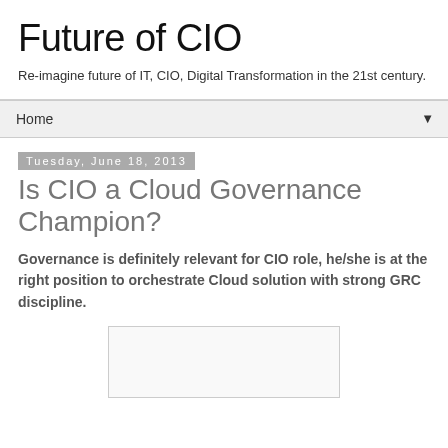Future of CIO
Re-imagine future of IT, CIO, Digital Transformation in the 21st century.
Home ▼
Tuesday, June 18, 2013
Is CIO a Cloud Governance Champion?
Governance is definitely relevant for CIO role, he/she is at the right position to orchestrate Cloud solution with strong GRC discipline.
[Figure (other): Image placeholder box]